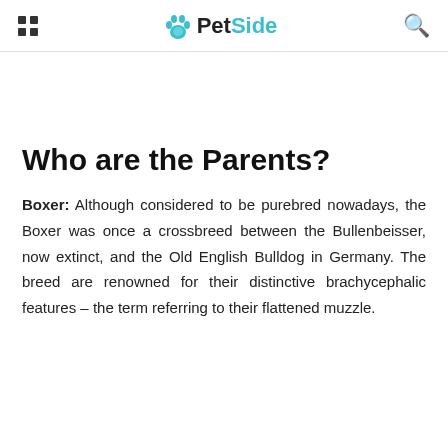PetSide
Who are the Parents?
Boxer: Although considered to be purebred nowadays, the Boxer was once a crossbreed between the Bullenbeisser, now extinct, and the Old English Bulldog in Germany. The breed are renowned for their distinctive brachycephalic features – the term referring to their flattened muzzle.